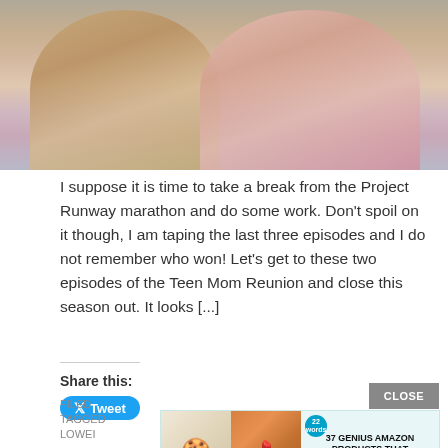[Figure (photo): Photo of two women smiling, one wearing a floral top with a pearl necklace, the other wearing a pink top with a necklace]
I suppose it is time to take a break from the Project Runway marathon and do some work. Don't spoil on it though, I am taping the last three episodes and I do not remember who won! Let's get to these two episodes of the Teen Mom Reunion and close this season out. It looks [...]
Share this:
[Figure (screenshot): Tweet button]
FILED
TAGGED
LOWELL
[Figure (infographic): Advertisement overlay: 37 GENIUS AMAZON PRODUCTS THAT CAN BE USED BY ANYONE with cookie and chapstick images and 22 words badge]
CLOSE